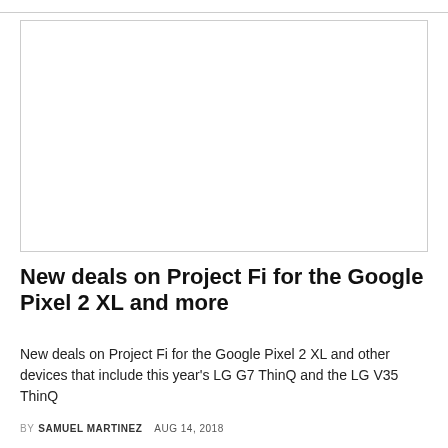[Figure (other): Blank image placeholder with border]
New deals on Project Fi for the Google Pixel 2 XL and more
New deals on Project Fi for the Google Pixel 2 XL and other devices that include this year’s LG G7 ThinQ and the LG V35 ThinQ
BY SAMUEL MARTINEZ   AUG 14, 2018